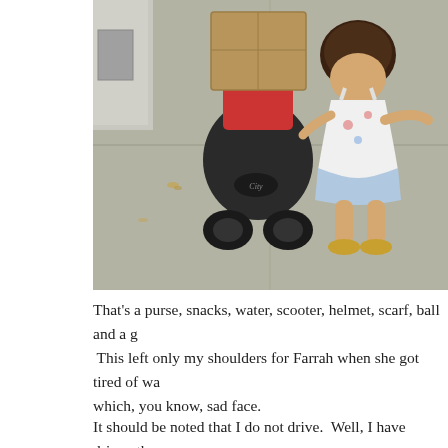[Figure (photo): Aerial/overhead view looking down at a sidewalk. A young toddler girl with curly dark hair, wearing a white floral sundress, light blue shorts, and gold sandals, is walking beside a black and red City Mini stroller that has a large brown cardboard box on top of it.]
That's a purse, snacks, water, scooter, helmet, scarf, ball and a g  This left only my shoulders for Farrah when she got tired of wa which, you know, sad face.
It should be noted that I do not drive.  Well, I have driven the c